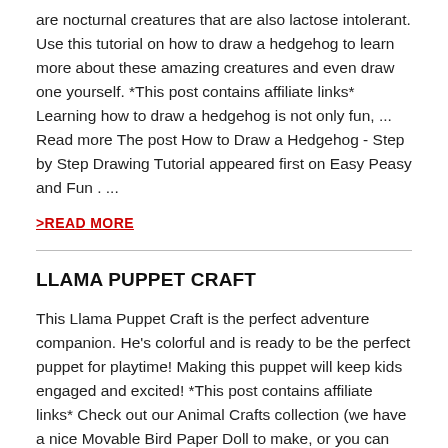are nocturnal creatures that are also lactose intolerant. Use this tutorial on how to draw a hedgehog to learn more about these amazing creatures and even draw one yourself. *This post contains affiliate links* Learning how to draw a hedgehog is not only fun, ... Read more The post How to Draw a Hedgehog - Step by Step Drawing Tutorial appeared first on Easy Peasy and Fun . ...
>READ MORE
LLAMA PUPPET CRAFT
This Llama Puppet Craft is the perfect adventure companion. He's colorful and is ready to be the perfect puppet for playtime! Making this puppet will keep kids engaged and excited! *This post contains affiliate links* Check out our Animal Crafts collection (we have a nice Movable Bird Paper Doll to make, or you can learn ... Read more The post Llama Puppet Craft appeared first on Easy Peasy and Fun . ...